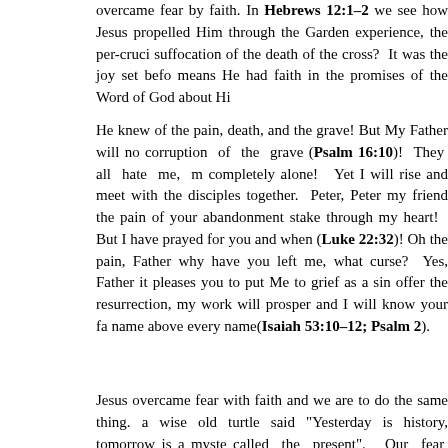overcame fear by faith. In Hebrews 12:1-2 we see how Jesus propelled Him through the Garden experience, the per-crucifixion suffocation of the death of the cross? It was the joy set before means He had faith in the promises of the Word of God about Hi
He knew of the pain, death, and the grave! But My Father will not corruption of the grave (Psalm 16:10)! They all hate me, m completely alone! Yet I will rise and meet with the disciples together. Peter, Peter my friend the pain of your abandonment stake through my heart! But I have prayed for you and when (Luke 22:32)! Oh the pain, Father why have you left me, what curse? Yes, Father it pleases you to put Me to grief as a sin offer the resurrection, my work will prosper and I will know your fa name above every name(Isaiah 53:10-12; Psalm 2).
Jesus overcame fear with faith and we are to do the same thing. a wise old turtle said "Yesterday is history, tomorrow is a myste called the present". Our fear arises from the "what if's" o